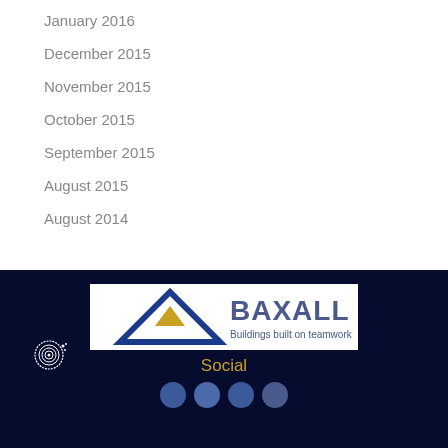January 2016
December 2015
November 2015
October 2015
September 2015
August 2015
August 2014
[Figure (logo): Baxall logo with blue triangle/mountain shape with gold triangle inside, text BAXALL and tagline Buildings built on teamwork]
[Figure (logo): Fingerprint/digital icon in white outline]
Social